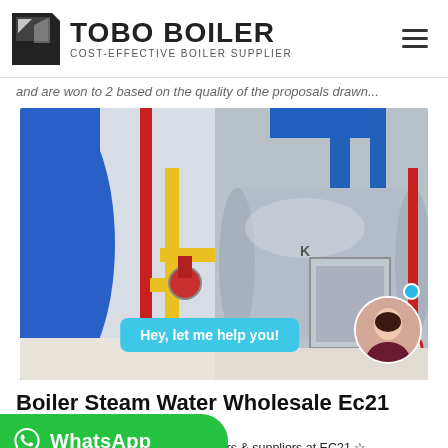TOBO BOILER — COST-EFFECTIVE BOILER SUPPLIER
and are won to 2 based on the quality of the proposals drawn...
[Figure (photo): Industrial boiler room photo showing blue pipes, yellow gas pipes, red pipes, and a large horizontal steam boiler tank with control panel. Chat bubble overlay: 'Hey, let me help you!' with avatar of a woman.]
Boiler Steam Water Wholesale Ec21
[Figure (logo): WhatsApp button with green background and WhatsApp icon]
res ☆ Find 94 Korean autoclaves products from 46 Korean manufacturers & suppliers at EC21 ☆ Choose quality autoclaves Manufacturers, Suppliers & Exporters ...